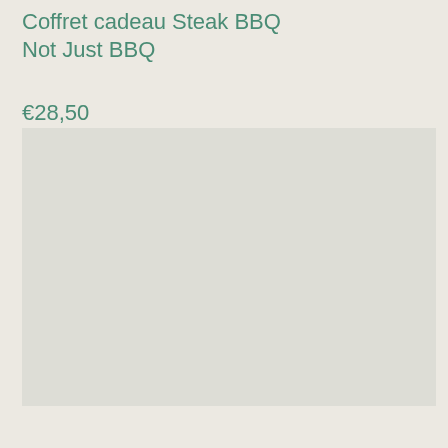Coffret cadeau Steak BBQ
Not Just BBQ
€28,50
[Figure (photo): Light grey/beige rectangular placeholder image area for product photo]